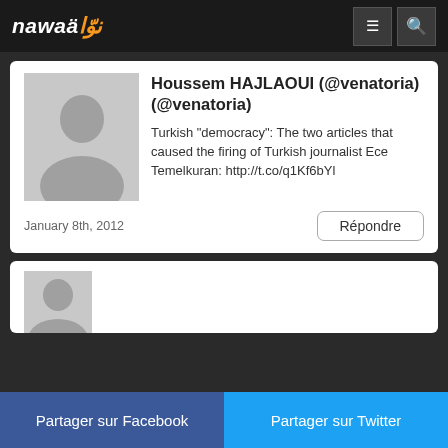nawaä (logo) - navigation header
Houssem HAJLAOUI (@venatoria) (@venatoria)
Turkish “democracy”: The two articles that caused the firing of Turkish journalist Ece Temelkuran: http://t.co/q1Kf6bYl
January 8th, 2012
[Figure (screenshot): Partial second comment card with grey avatar placeholder]
Partager sur Facebook | Partager sur Twitter